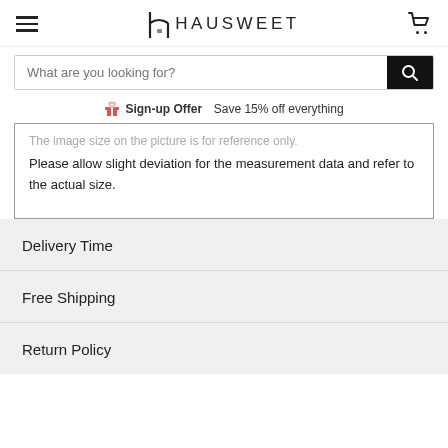HAUSWEET
What are you looking for?
Sign-up Offer  Save 15% off everything
The image size on the picture is for reference only. Please allow slight deviation for the measurement data and refer to the actual size.
Delivery Time
Free Shipping
Return Policy